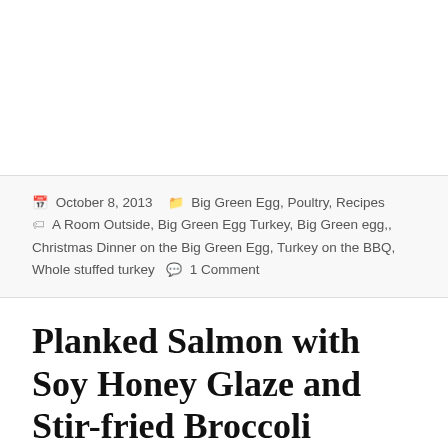October 8, 2013   Big Green Egg, Poultry, Recipes   A Room Outside, Big Green Egg Turkey, Big Green egg,, Christmas Dinner on the Big Green Egg, Turkey on the BBQ, Whole stuffed turkey   1 Comment
Planked Salmon with Soy Honey Glaze and Stir-fried Broccoli
[Figure (photo): Two side-by-side photos: left shows a fishing harbor with boats and masts against a cloudy sky with hills; right shows a red boat/vessel labeled WAYFINDER with green netting visible on top. A smaller thumbnail photo appears at the bottom center overlapping both.]